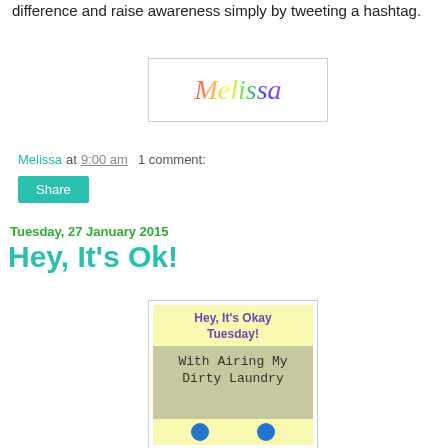difference and raise awareness simply by tweeting a hashtag.
[Figure (illustration): Colorful cursive signature reading 'Melissa' in rainbow gradient colors on a white background with a light gray border.]
Melissa at 9:00 am   1 comment:
Share
Tuesday, 27 January 2015
Hey, It's Ok!
[Figure (illustration): A card image with yellow background saying 'Hey, It's Okay Tuesday!' at the top in purple text, and 'With Airing My Dirty Laundry' in a handwritten style on a tan/olive background, with blue circles at the bottom.]